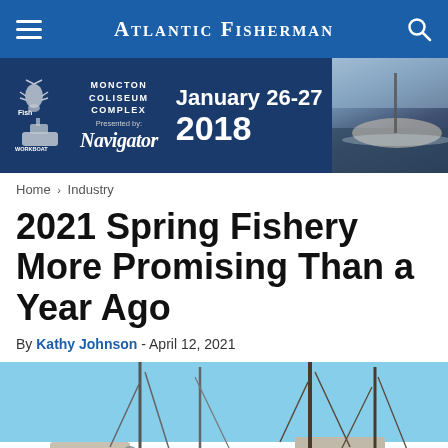Atlantic Fisherman
[Figure (other): Banner advertisement for Fish Canada / WorkBoat Canada show at Moncton Coliseum Complex, January 26-27, 2018, Presented by Navigator]
Home > Industry
2021 Spring Fishery More Promising Than a Year Ago
By Kathy Johnson - April 12, 2021
[Figure (photo): Fishing boats docked at a harbour on a clear sunny day, with masts and rigging visible; a person in camouflage jacket works in the foreground on the right]